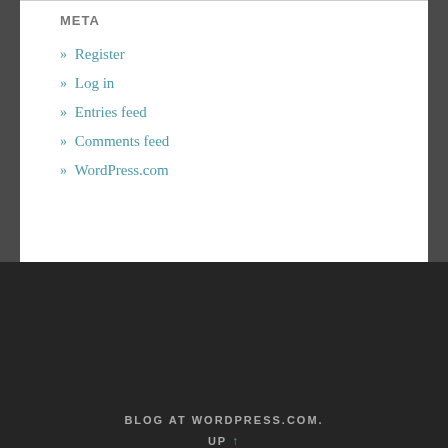META
» Register
» Log in
» Entries feed
» Comments feed
» WordPress.com
BLOG AT WORDPRESS.COM.
UP ↑